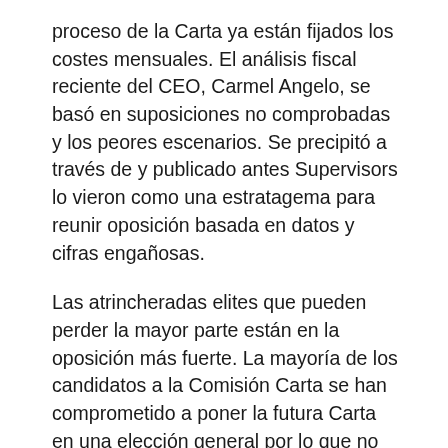proceso de la Carta ya están fijados los costes mensuales. El análisis fiscal reciente del CEO, Carmel Angelo, se basó en suposiciones no comprobadas y los peores escenarios. Se precipitó a través de y publicado antes Supervisors lo vieron como una estratagema para reunir oposición basada en datos y cifras engañosas.
Las atrincheradas elites que pueden perder la mayor parte están en la oposición más fuerte. La mayoría de los candidatos a la Comisión Carta se han comprometido a poner la futura Carta en una elección general por lo que no tendrá un costo extra al condado. Además, el resto de análisis fiscal del director general se basa en la Junta de Supervisores de concesión de beneficios generosos para los comisarios de la carta, la contratación de expertos y consultores muy bien pagados, reunido el arrendamiento de espacio, y todos los 47.000